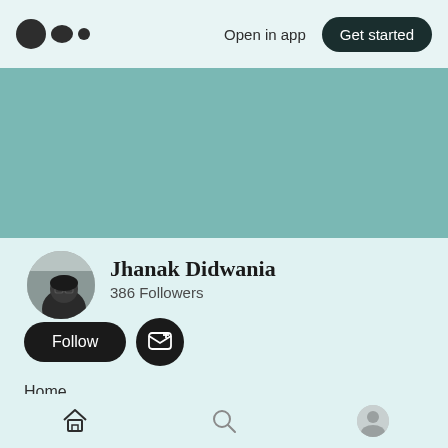Open in app  Get started
[Figure (illustration): Teal/muted green banner background image area]
[Figure (photo): Circular avatar photo of Jhanak Didwania]
Jhanak Didwania
386 Followers
Follow
Home
Home  Search  Profile